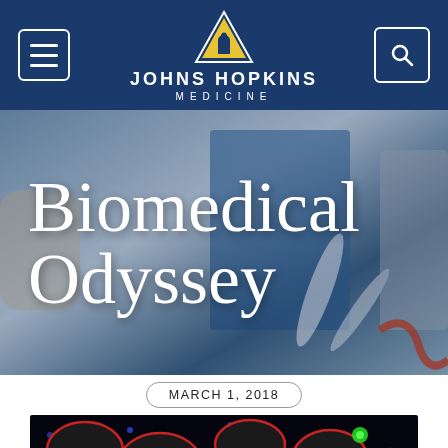JOHNS HOPKINS MEDICINE
Biomedical Odyssey
MARCH 1, 2018
[Figure (photo): Fluorescence microscopy image showing cells outlined in red with green and blue fluorescent markers against a dark background]